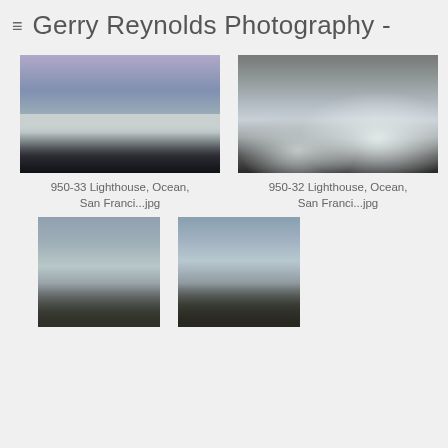≡  Gerry Reynolds Photography -
[Figure (photo): Coastal lighthouse scene with purple-hued sky and ocean waves crashing on rocks]
950-33 Lighthouse, Ocean, San Franci...jpg
[Figure (photo): Close-up of rocky coastal cliffs with large waves crashing, lighthouse visible in background]
950-32 Lighthouse, Ocean, San Franci...jpg
[Figure (photo): Lighthouse on cliff with waves and rocky outcrops, partially cropped at bottom]
[Figure (photo): Lighthouse on cliff with ocean waves, partially cropped at bottom]